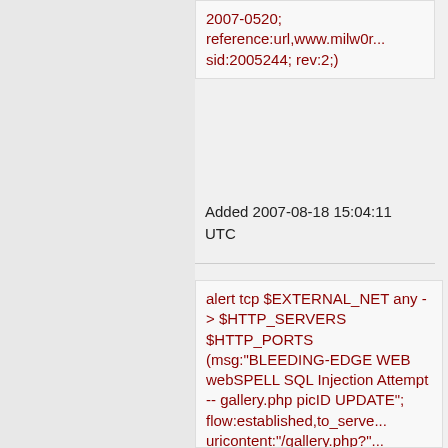2007-0520; reference:url,www.milw0r... sid:2005244; rev:2;)
Added 2007-08-18 15:04:11 UTC
alert tcp $EXTERNAL_NET any -> $HTTP_SERVERS $HTTP_PORTS (msg:"BLEEDING-EDGE WEB webSPELL SQL Injection Attempt -- gallery.php picID UPDATE"; flow:established,to_server; uricontent:"/gallery.php?"